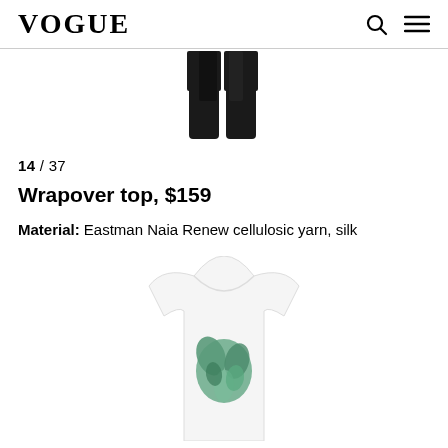VOGUE
[Figure (photo): Bottom portion of black wrapover pants/garment on white background]
14 / 37
Wrapover top, $159
Material: Eastman Naia Renew cellulosic yarn, silk
[Figure (photo): White t-shirt with green floral/leaf graphic print, partially visible at bottom of page]